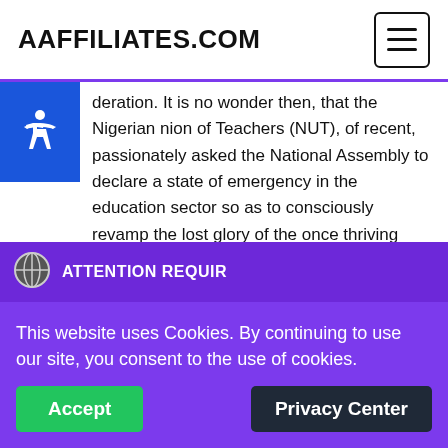AAFFILIATES.COM
deration. It is no wonder then, that the Nigerian nion of Teachers (NUT), of recent, passionately asked the National Assembly to declare a state of emergency in the education sector so as to consciously revamp the lost glory of the once thriving industry.
While many stakeholders in the sector yet, believe that they are to be reviving the education sector, some have equally been described by some in the know of
ATTENTION REQUIRED
This website uses Cookies. By continuing to use our site, you consent to the use of cookies.
Accept
Privacy Center